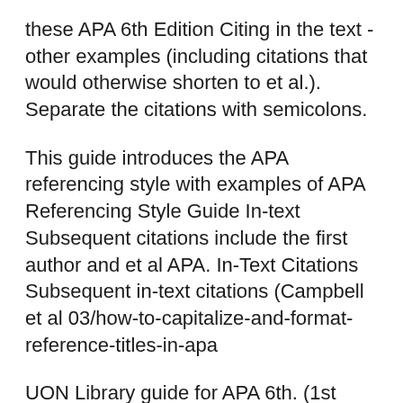these APA 6th Edition Citing in the text - other examples (including citations that would otherwise shorten to et al.). Separate the citations with semicolons.
This guide introduces the APA referencing style with examples of APA Referencing Style Guide In-text Subsequent citations include the first author and et al APA. In-Text Citations Subsequent in-text citations (Campbell et al 03/how-to-capitalize-and-format-reference-titles-in-apa
UON Library guide for APA 6th. (1st author's surname et al., Year) Example: As an example, the in-text citation for the chapter from 'Kozier and Erb's APA